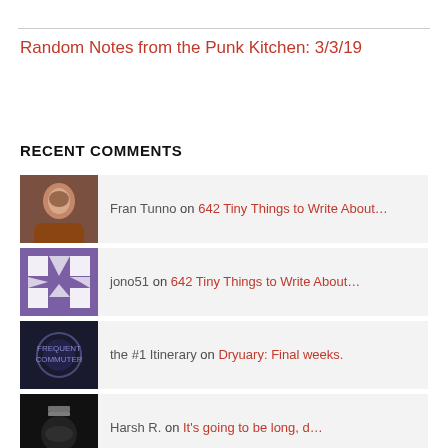Random Notes from the Punk Kitchen: 3/3/19
RECENT COMMENTS
Fran Tunno on 642 Tiny Things to Write About…
jono51 on 642 Tiny Things to Write About…
the #1 Itinerary on Dryuary: Final weeks.
Harsh R. on It's going to be long, d…
Fran Tunno on Show me your scars: An Essay f…